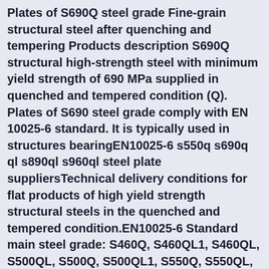Plates of S690Q steel grade Fine-grain structural steel after quenching and tempering Products description S690Q structural high-strength steel with minimum yield strength of 690 MPa supplied in quenched and tempered condition (Q). Plates of S690 steel grade comply with EN 10025-6 standard. It is typically used in structures bearingEN10025-6 s550q s690q ql s890ql s960ql steel plate suppliersTechnical delivery conditions for flat products of high yield strength structural steels in the quenched and tempered condition.EN10025-6 Standard main steel grade: S460Q, S460QL1, S460QL, S500QL, S500Q, S500QL1, S550Q, S550QL, S690Q, S690QL, S890Q, S890QL, S960QL and so on.EN10025-6 s550q s690q ql s890ql s960ql steel plate suppliersTechnical delivery conditions for flat products of high yield strength structural steels in the quenched and tempered condition.EN10025-6 Standard main steel grade: S460Q, S460QL1, S460QL, S500QL, S500Q, S500QL1,